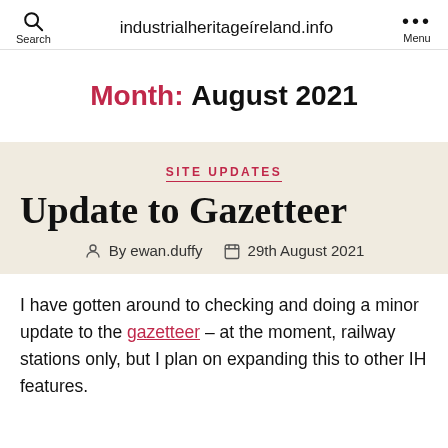Search  industrialheritageíreland.info  ··· Menu
Month: August 2021
SITE UPDATES
Update to Gazetteer
By ewan.duffy  29th August 2021
I have gotten around to checking and doing a minor update to the gazetteer – at the moment, railway stations only, but I plan on expanding this to other IH features.